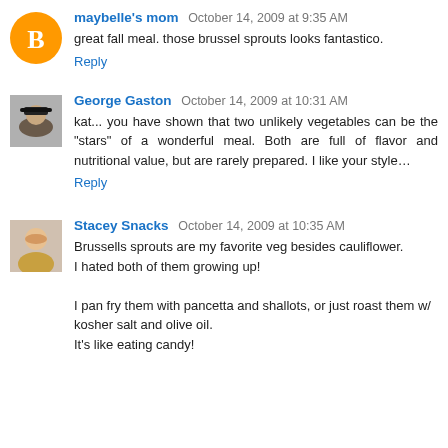maybelle's mom October 14, 2009 at 9:35 AM
great fall meal. those brussel sprouts looks fantastico.
Reply
George Gaston October 14, 2009 at 10:31 AM
kat... you have shown that two unlikely vegetables can be the "stars" of a wonderful meal. Both are full of flavor and nutritional value, but are rarely prepared. I like your style...
Reply
Stacey Snacks October 14, 2009 at 10:35 AM
Brussells sprouts are my favorite veg besides cauliflower. I hated both of them growing up!
I pan fry them with pancetta and shallots, or just roast them w/ kosher salt and olive oil.
It's like eating candy!